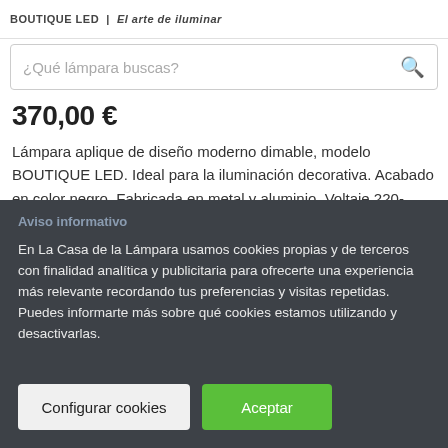BOUTIQUE LED — La Casa de la Lámpara. El arte de iluminar
¿Qué lámpara buscas?
370,00 €
Lámpara aplique de diseño moderno dimable, modelo BOUTIQUE LED. Ideal para la iluminación decorativa. Acabado en color negro. Fabricada en metal y aluminio. Voltaje 220-240V y fuente de luz cálida regulable en intensidad LED 79W 3000K 4250Lm (incluida).
Aviso informativo
En La Casa de la Lámpara usamos cookies propias y de terceros con finalidad analítica y publicitaria para ofrecerte una experiencia más relevante recordando tus preferencias y visitas repetidas. Puedes informarte más sobre qué cookies estamos utilizando y desactivarlas.
Configurar cookies
Aceptar